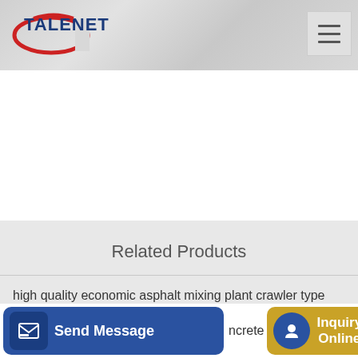[Figure (logo): TALENET company logo with red oval and blue text]
Related Products
high quality economic asphalt mixing plant crawler type and
HLS25 Mix Concrete Batching Plant for Sale ※ RMC Plant
ncrete
Send Message
Inquiry Online